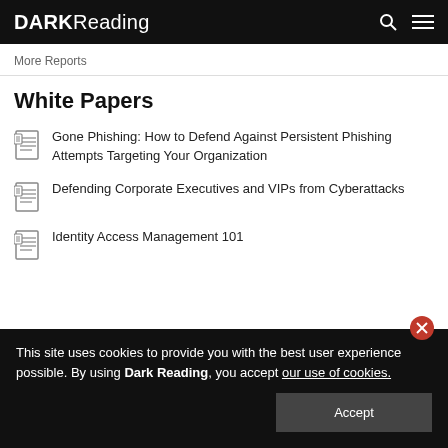DARK Reading
More Reports
White Papers
Gone Phishing: How to Defend Against Persistent Phishing Attempts Targeting Your Organization
Defending Corporate Executives and VIPs from Cyberattacks
Identity Access Management 101
This site uses cookies to provide you with the best user experience possible. By using Dark Reading, you accept our use of cookies.